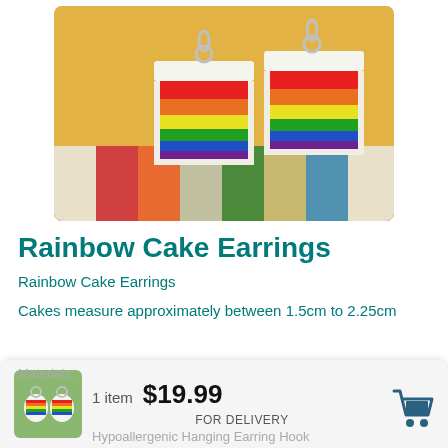[Figure (photo): Two rainbow cake slice earrings with silver hooks sitting on a colorful striped surface with yellow patterned background. Each slice shows layers of red, orange, yellow, green, blue, and purple cake with white frosting on top.]
Rainbow Cake Earrings
Rainbow Cake Earrings
Cakes measure approximately between 1.5cm to 2.25cm
Materials:
1 item  $19.99  FOR DELIVERY
Hypoallergenic Hanging Earring Hook